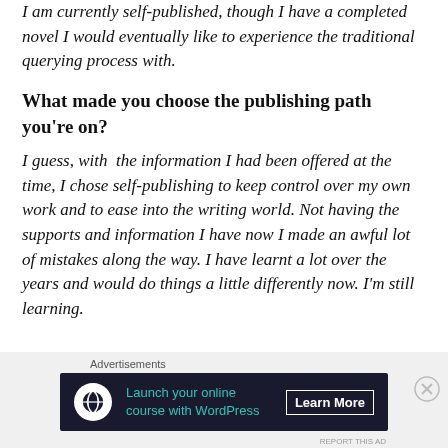I am currently self-published, though I have a completed novel I would eventually like to experience the traditional querying process with.
What made you choose the publishing path you're on?
I guess, with  the information I had been offered at the time, I chose self-publishing to keep control over my own work and to ease into the writing world. Not having the supports and information I have now I made an awful lot of mistakes along the way. I have learnt a lot over the years and would do things a little differently now. I'm still learning.
[Figure (other): Advertisement banner for WordPress online course with 'Learn More' button and close button]